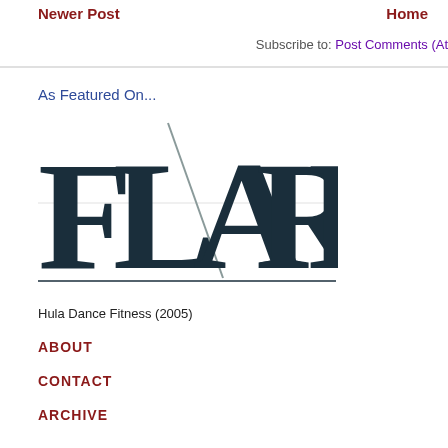Newer Post    Home
Subscribe to: Post Comments (At
As Featured On...
[Figure (logo): FLARE magazine logo in large serif dark teal font with a diagonal slash through the letters]
Hula Dance Fitness (2005)
ABOUT
CONTACT
ARCHIVE